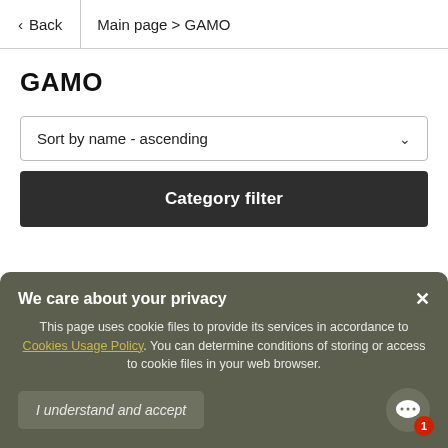< Back | Main page > GAMO
GAMO
Sort by name - ascending
Category filter
We care about your privacy
This page uses cookie files to provide its services in accordance to Cookies Usage Policy. You can determine conditions of storing or access to cookie files in your web browser.
I understand and accept